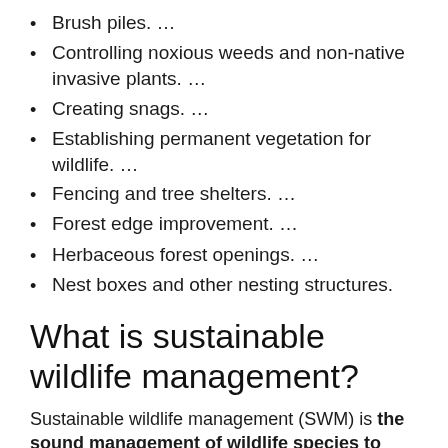Brush piles. …
Controlling noxious weeds and non-native invasive plants. …
Creating snags. …
Establishing permanent vegetation for wildlife. …
Fencing and tree shelters. …
Forest edge improvement. …
Herbaceous forest openings. …
Nest boxes and other nesting structures.
What is sustainable wildlife management?
Sustainable wildlife management (SWM) is the sound management of wildlife species to sustain their populations.